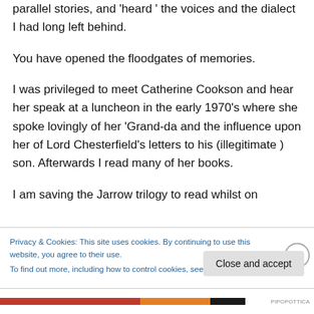parallel stories, and 'heard ' the voices and the dialect I had long left behind.
You have opened the floodgates of memories.
I was privileged to meet Catherine Cookson and hear her speak at a luncheon in the early 1970's where she spoke lovingly of her 'Grand-da and the influence upon her of Lord Chesterfield's letters to his (illegitimate ) son. Afterwards I read many of her books.
I am saving the Jarrow trilogy to read whilst on
Privacy & Cookies: This site uses cookies. By continuing to use this website, you agree to their use.
To find out more, including how to control cookies, see here: Cookie Policy